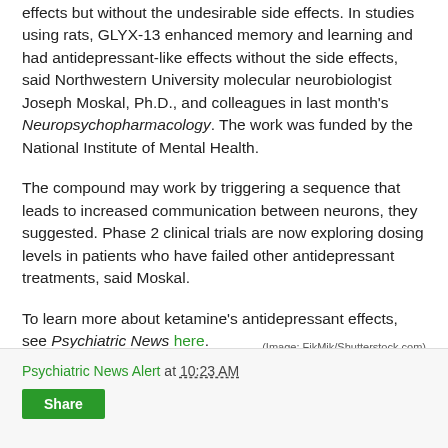effects but without the undesirable side effects. In studies using rats, GLYX-13 enhanced memory and learning and had antidepressant-like effects without the side effects, said Northwestern University molecular neurobiologist Joseph Moskal, Ph.D., and colleagues in last month's Neuropsychopharmacology. The work was funded by the National Institute of Mental Health.
The compound may work by triggering a sequence that leads to increased communication between neurons, they suggested. Phase 2 clinical trials are now exploring dosing levels in patients who have failed other antidepressant treatments, said Moskal.
To learn more about ketamine's antidepressant effects, see Psychiatric News here.
(Image: FikMik/Shutterstock.com)
Psychiatric News Alert at 10:23 AM  Share